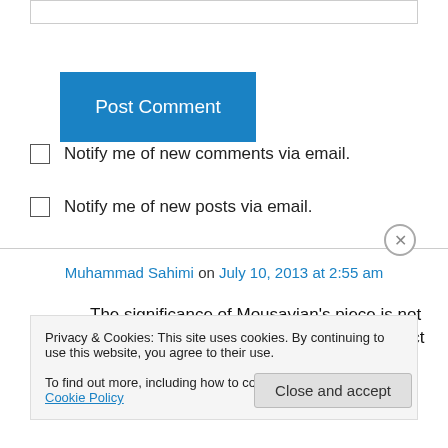[input box]
Post Comment
Notify me of new comments via email.
Notify me of new posts via email.
Muhammad Sahimi on July 10, 2013 at 2:55 am
The significance of Mousavian's piece is not only due to what he says, but also in the fact that, (1)
Privacy & Cookies: This site uses cookies. By continuing to use this website, you agree to their use.
To find out more, including how to control cookies, see here: Cookie Policy
Close and accept